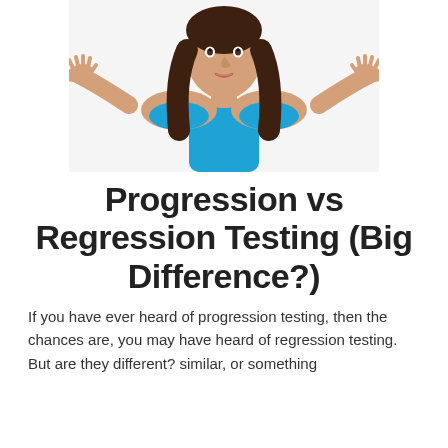[Figure (photo): A young woman with long brown hair wearing a blue tank top, shrugging with both palms open and raised, on a white background.]
Progression vs Regression Testing (Big Difference?)
If you have ever heard of progression testing, then the chances are, you may have heard of regression testing. But are they different? similar, or something